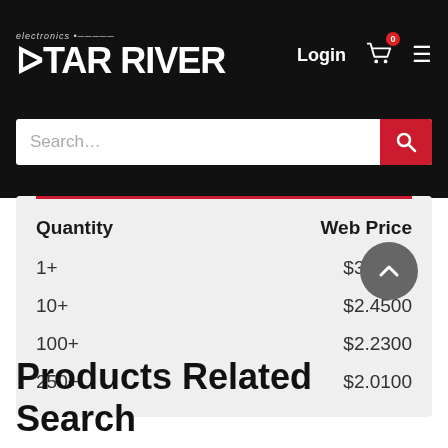Star River Electronics — Login, Cart, Menu
| Quantity | Web Price |
| --- | --- |
| 1+ | $3.0500 |
| 10+ | $2.4500 |
| 100+ | $2.2300 |
| 250+ | $2.0100 |
Products Related Search